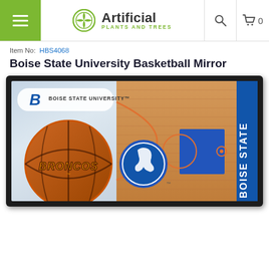Artificial Plants and Trees — navigation header
Item No: HBS4068
Boise State University Basketball Mirror
[Figure (photo): Product photo of a Boise State University Basketball Mirror — a framed mirror showing a basketball court design with orange basketball, Broncos text, Boise State University logo, team mascot (Buster Bronco), and 'Boise State' text on right side in blue and orange colors inside a black frame.]